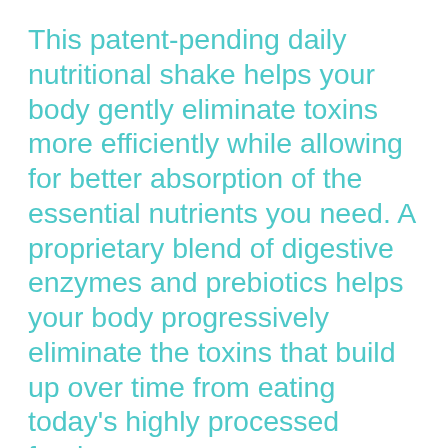This patent-pending daily nutritional shake helps your body gently eliminate toxins more efficiently while allowing for better absorption of the essential nutrients you need. A proprietary blend of digestive enzymes and prebiotics helps your body progressively eliminate the toxins that build up over time from eating today's highly processed foods.
At the same time, whole-food ingredients deliver the essential amino acids, vitamins, and minerals your body needs to curb cravings, allowing your body to shed stored fat while the more than 20 different antioxidants and phytonutrients help reduce free radical damage that can lead to heart disease, heart attacks, high blood pressure, and stroke.